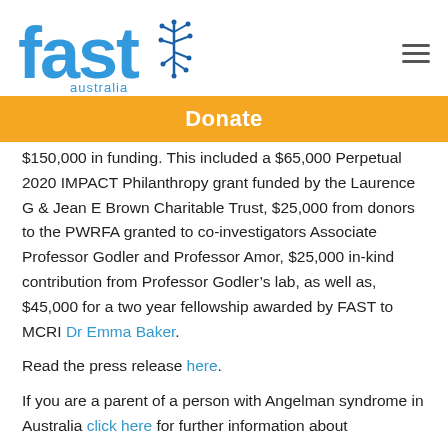[Figure (logo): FAST Australia logo in blue with circuit/tree icon]
Donate
$150,000 in funding. This included a $65,000 Perpetual 2020 IMPACT Philanthropy grant funded by the Laurence G & Jean E Brown Charitable Trust, $25,000 from donors to the PWRFA granted to co-investigators Associate Professor Godler and Professor Amor, $25,000 in-kind contribution from Professor Godler's lab, as well as, $45,000 for a two year fellowship awarded by FAST to MCRI Dr Emma Baker.
Read the press release here.
If you are a parent of a person with Angelman syndrome in Australia click here for further information about